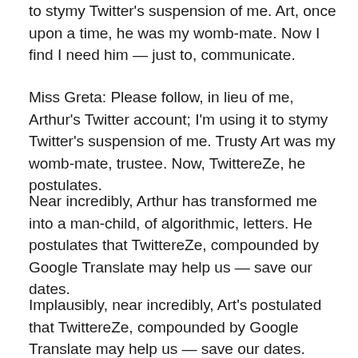to stymy Twitter's suspension of me. Art, once upon a time, he was my womb-mate. Now I find I need him — just to, communicate.
Miss Greta: Please follow, in lieu of me, Arthur's Twitter account; I'm using it to stymy Twitter's suspension of me. Trusty Art was my womb-mate, trustee. Now, TwittereZe, he postulates.
Near incredibly, Arthur has transformed me into a man-child, of algorithmic, letters. He postulates that TwittereZe, compounded by Google Translate may help us — save our dates.
Implausibly, near incredibly, Art's postulated that TwittereZe, compounded by Google Translate may help us — save our dates. Arthur has transformed me into a man-child of letters.